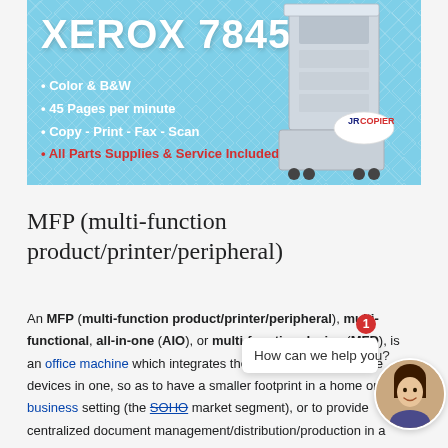[Figure (illustration): Xerox 7845 advertisement banner with blue diamond-pattern background, printer image, bullet points listing features (Color & B&W, 45 Pages per minute, Copy-Print-Fax-Scan, All Parts Supplies & Service Included), and JR Copier logo badge.]
MFP (multi-function product/printer/peripheral)
An MFP (multi-function product/printer/peripheral), multi-functional, all-in-one (AIO), or multi-function device (MFD), is an office machine whi... devices in one, so as... business setting (the SOHO market segment), or to provide centralized document management/distribution/production in a large-
[Figure (illustration): Chat widget overlay showing a female avatar with red notification badge (1) and a speech bubble saying 'How can we help you?' with a close (×) button.]